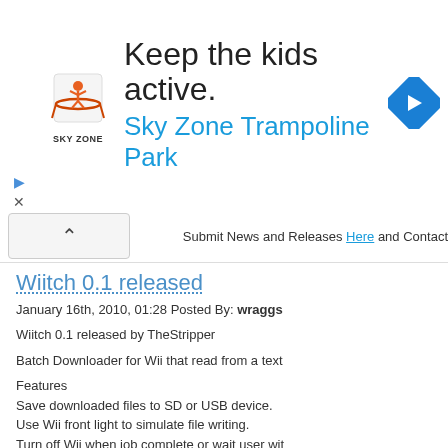[Figure (illustration): Sky Zone Trampoline Park advertisement banner with logo, headline 'Keep the kids active.' and subheadline 'Sky Zone Trampoline Park', with a blue diamond arrow navigation icon on the right.]
Submit News and Releases Here and Contact
Wiitch 0.1 released
January 16th, 2010, 01:28 Posted By: wraggs
Wiitch 0.1 released by TheStripper
Batch Downloader for Wii that read from a text
Features
Save downloaded files to SD or USB device.
Use Wii front light to simulate file writing.
Turn off Wii when job complete or wait user wit
Possibility to change background image chang
Future Plans
Add SMB read of DLList.txt
Add SMB save support
Add USB NTFS save support (...is ntfs writing
Better GUI (maybe LibWiiGUI)
Sounds??